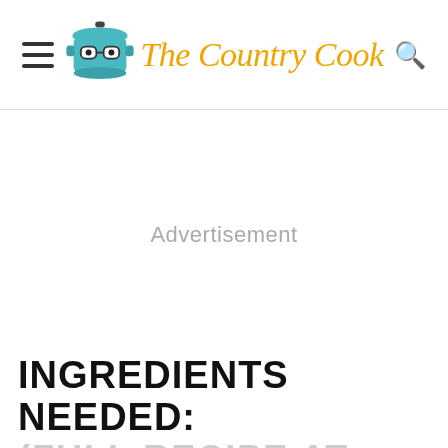The Country Cook
Advertisement
INGREDIENTS NEEDED: (FULL RECIPE AT THE BOTTOM OF THE